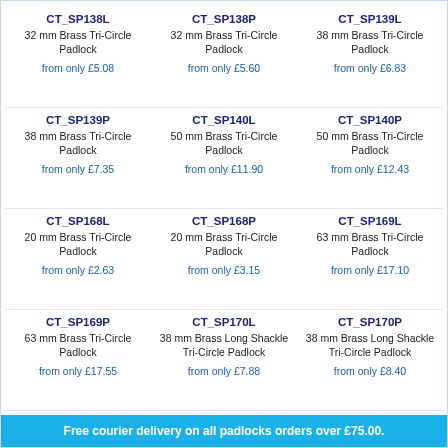CT_SP138L
32 mm Brass Tri-Circle Padlock
from only £5.08
CT_SP138P
32 mm Brass Tri-Circle Padlock
from only £5.60
CT_SP139L
38 mm Brass Tri-Circle Padlock
from only £6.83
CT_SP139P
38 mm Brass Tri-Circle Padlock
from only £7.35
CT_SP140L
50 mm Brass Tri-Circle Padlock
from only £11.90
CT_SP140P
50 mm Brass Tri-Circle Padlock
from only £12.43
CT_SP168L
20 mm Brass Tri-Circle Padlock
from only £2.63
CT_SP168P
20 mm Brass Tri-Circle Padlock
from only £3.15
CT_SP169L
63 mm Brass Tri-Circle Padlock
from only £17.10
CT_SP169P
63 mm Brass Tri-Circle Padlock
from only £17.55
CT_SP170L
38 mm Brass Long Shackle Tri-Circle Padlock
from only £7.88
CT_SP170P
38 mm Brass Long Shackle Tri-Circle Padlock
from only £8.40
Free courier delivery on all padlocks orders over £75.00.